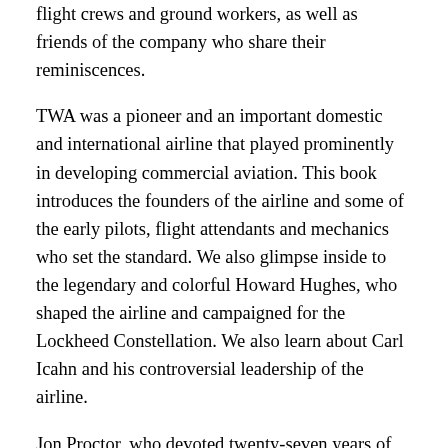flight crews and ground workers, as well as friends of the company who share their reminiscences.
TWA was a pioneer and an important domestic and international airline that played prominently in developing commercial aviation. This book introduces the founders of the airline and some of the early pilots, flight attendants and mechanics who set the standard. We also glimpse inside to the legendary and colorful Howard Hughes, who shaped the airline and campaigned for the Lockheed Constellation. We also learn about Carl Icahn and his controversial leadership of the airline.
Jon Proctor, who devoted twenty-seven years of his professional life to TWA, contributed several stories, including a description of TWA's famous Royal